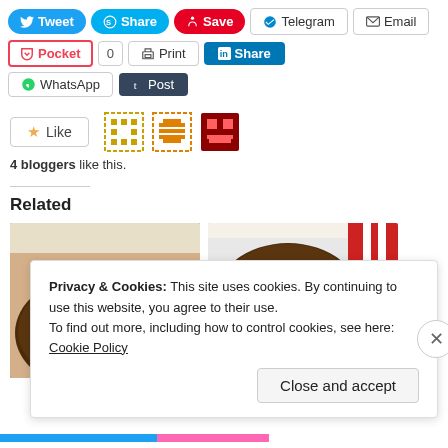[Figure (screenshot): Social share buttons row 1: Tweet, Share (Skype), Save (Pinterest), Telegram, Email]
[Figure (screenshot): Social share buttons row 2: Pocket (count 0), Print, Share (LinkedIn)]
[Figure (screenshot): Social share buttons row 3: WhatsApp, Post (Tumblr)]
[Figure (screenshot): Like button with star and pixel avatar icons]
4 bloggers like this.
Related
[Figure (photo): Two photos of chocolate cookies side by side]
Privacy & Cookies: This site uses cookies. By continuing to use this website, you agree to their use.
To find out more, including how to control cookies, see here:
Cookie Policy
[Figure (screenshot): Close and accept button for cookie banner]